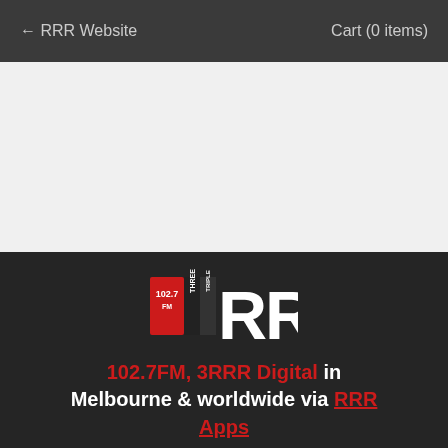← RRR Website    Cart (0 items)
[Figure (logo): Triple RRR 102.7FM radio station logo — large bold white RRR letters with 'THREE' and 'TRIPLE' text and red 102.7 FM badge on the left]
102.7FM, 3RRR Digital in Melbourne & worldwide via RRR Apps